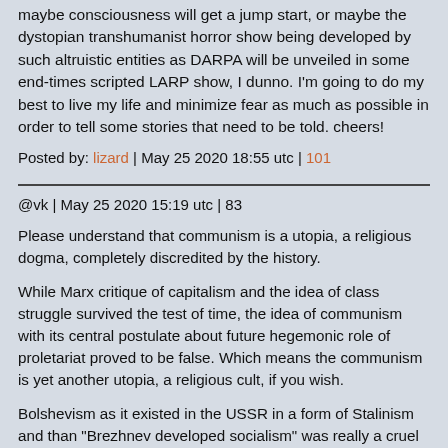maybe consciousness will get a jump start, or maybe the dystopian transhumanist horror show being developed by such altruistic entities as DARPA will be unveiled in some end-times scripted LARP show, I dunno. I'm going to do my best to live my life and minimize fear as much as possible in order to tell some stories that need to be told. cheers!
Posted by: lizard | May 25 2020 18:55 utc | 101
@vk | May 25 2020 15:19 utc | 83
Please understand that communism is a utopia, a religious dogma, completely discredited by the history.
While Marx critique of capitalism and the idea of class struggle survived the test of time, the idea of communism with its central postulate about future hegemonic role of proletariat proved to be false. Which means the communism is yet another utopia, a religious cult, if you wish.
Bolshevism as it existed in the USSR in a form of Stalinism and than "Brezhnev developed socialism" was really a cruel and bloodthirsty religious cult (less bloodthirsty in the latter form, but still). No questions about it.
Although I do not understand details, it look like China Communist Party also degenerated into hypocritical religious cult, not that dissimilar from CPSU. That might well